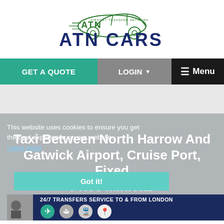[Figure (logo): ATN Cars – Airport Transfer Network logo with car illustration in green and dark blue text]
GET A QUOTE   LOGIN ▼   ☰ Menu
[Figure (other): Advertisement gray strip banner]
This website uses cookies to ensure you get the best experience on our website. Learn more
Taxi Between North Harrow And Gatwick Airport, Cruise Port, Fixed Price Minicab
[Figure (infographic): Got it! cookie consent button and 24/7 TRANSFERS SERVICE TO & FROM LONDON banner with icons for airplane, cruise ship, train, and map pin]